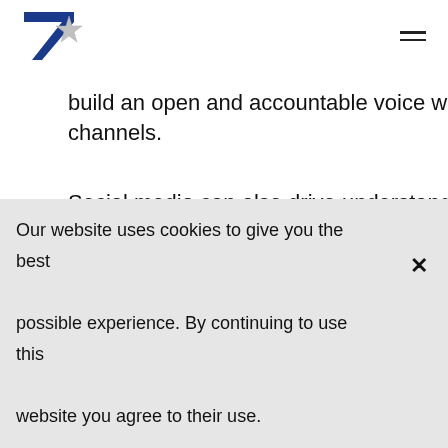7* [logo] [hamburger menu]
build an open and accountable voice within channels.
Social media can also drive understanding of the mood and mindset of the nation to inform p... campaigns alongside organic responses. Carlsberg's recent campaign “Welcoming B...
Our website uses cookies to give you the best possible experience. By continuing to use this website you agree to their use.